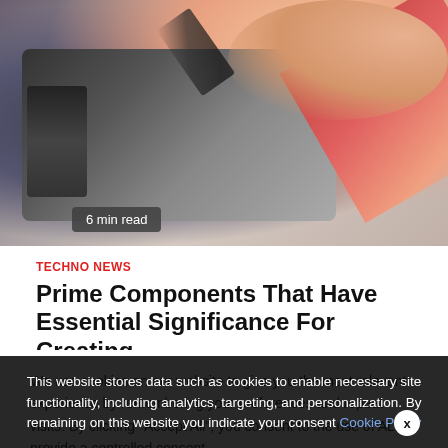[Figure (photo): Close-up photo of a hand holding a stylus pen over a graphics drawing tablet, with colorful blurred background.]
6 min read
TECHNO NEWS
Prime Components That Have Essential Significance For Creating
We use cookies on our website to give you the most relevant experience by remembering your preferences and repeat visits. By clicking "Accept All", you consent to the use of ALL provide a controlled consent.
This website stores data such as cookies to enable necessary site functionality, including analytics, targeting, and personalization. By remaining on this website you indicate your consent Cookie Policy